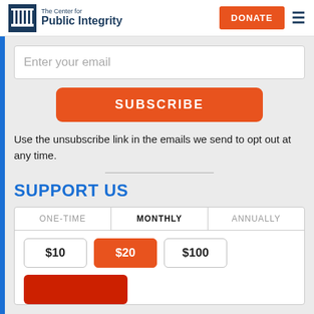[Figure (logo): The Center for Public Integrity logo with column icon and text]
DONATE
Enter your email
SUBSCRIBE
Use the unsubscribe link in the emails we send to opt out at any time.
SUPPORT US
| ONE-TIME | MONTHLY | ANNUALLY |
| --- | --- | --- |
| $10 | $20 | $100 |
$20 (selected)